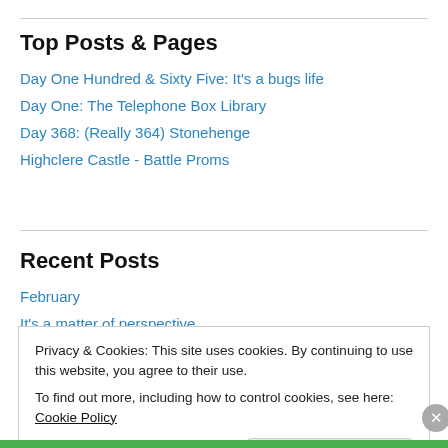Top Posts & Pages
Day One Hundred & Sixty Five: It's a bugs life
Day One: The Telephone Box Library
Day 368: (Really 364) Stonehenge
Highclere Castle - Battle Proms
Recent Posts
February
It's a matter of perspective
Privacy & Cookies: This site uses cookies. By continuing to use this website, you agree to their use.
To find out more, including how to control cookies, see here: Cookie Policy
Close and accept